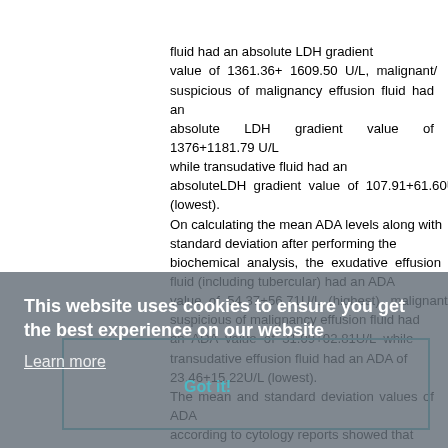fluid had an absolute LDH gradient value of 1361.36+ 1609.50 U/L, malignant/suspicious of malignancy effusion fluid had an absolute LDH gradient value of 1376+1181.79 U/L while transudative fluid had an absoluteLDH gradient value of 107.91+61.60U/L (lowest). On calculating the mean ADA levels along with standard deviation after performing the biochemical analysis, the exudative effusion fluid (including tubercular) had an ADA value of 54.37+56.71U/L (highest), malignant/suspicious of malignancy effusion fluid had an ADA value of 31.09+02.81U/L while transudative effusion fluid had an ADA of 23.46+15.22U/L (lowest). The mean and standard deviation values of ADA according to cytology reports showed that it was highest in chronic inflammatory smear (exudates- tubercular) and least in case of inflammatory smears (transudate). The mean and standard deviation values of Absolute LDH gradient according to cytology reports showed that it was highest in acute
This website uses cookies to ensure you get the best experience on our website
Learn more
Got it!